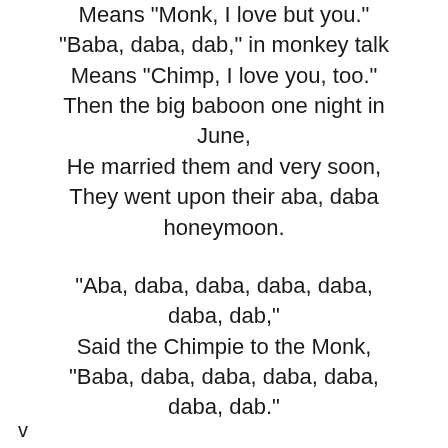Means "Monk, I love but you."
"Baba, daba, dab," in monkey talk
Means "Chimp, I love you, too."
Then the big baboon one night in June,
He married them and very soon,
They went upon their aba, daba honeymoon.

"Aba, daba, daba, daba, daba, daba, dab,"
Said the Chimpie to the Monk,
"Baba, daba, daba, daba, daba, daba, dab."
v